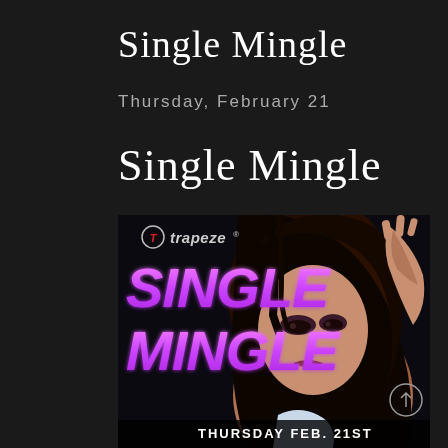Single Mingle
Thursday, February 21
Single Mingle
[Figure (photo): Event promotional poster for 'Single Mingle' at Trapeze club. Shows a woman with dark hair posing with her hand near her head. Large purple italic text reads 'SINGLE MINGLE' with the Trapeze logo at the top. Bottom text reads 'THURSDAY FEB. 21ST'.]